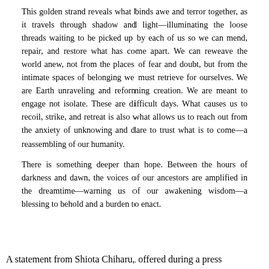This golden strand reveals what binds awe and terror together, as it travels through shadow and light—illuminating the loose threads waiting to be picked up by each of us so we can mend, repair, and restore what has come apart. We can reweave the world anew, not from the places of fear and doubt, but from the intimate spaces of belonging we must retrieve for ourselves. We are Earth unraveling and reforming creation. We are meant to engage not isolate. These are difficult days. What causes us to recoil, strike, and retreat is also what allows us to reach out from the anxiety of unknowing and dare to trust what is to come—a reassembling of our humanity.
There is something deeper than hope. Between the hours of darkness and dawn, the voices of our ancestors are amplified in the dreamtime—warning us of our awakening wisdom—a blessing to behold and a burden to enact.
A statement from Shiota Chiharu, offered during a press